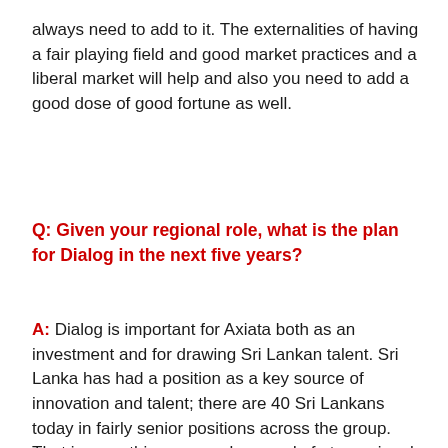always need to add to it. The externalities of having a fair playing field and good market practices and a liberal market will help and also you need to add a good dose of good fortune as well.
Q: Given your regional role, what is the plan for Dialog in the next five years?
A: Dialog is important for Axiata both as an investment and for drawing Sri Lankan talent. Sri Lanka has had a position as a key source of innovation and talent; there are 40 Sri Lankans today in fairly senior positions across the group. That is something we can be proud of at a regional level. Sri Lankan people are accepted as being some of the best and Sri Lanka and Dialog will continue to be innovation